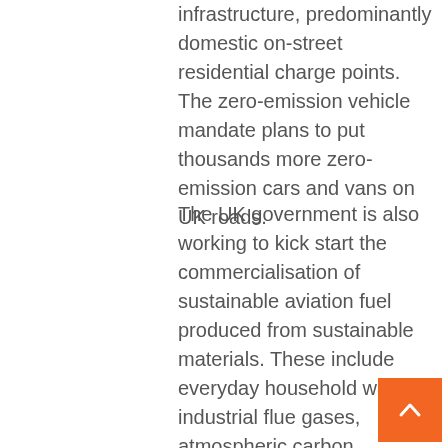infrastructure, predominantly domestic on-street residential charge points. The zero-emission vehicle mandate plans to put thousands more zero-emission cars and vans on UK roads.
The UK government is also working to kick start the commercialisation of sustainable aviation fuel produced from sustainable materials. These include everyday household waste, industrial flue gases, atmospheric carbon captured and excess electricity. These sustainable sources produce 70% fewer carbon emissions on a lifecycle basis in comparison to jet fuels. The government aims to enable the delivery of 10% SAF by 2030. £180 million in